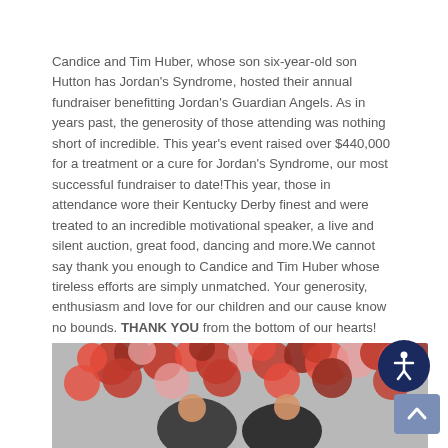Candice and Tim Huber, whose son six-year-old son Hutton has Jordan's Syndrome, hosted their annual fundraiser benefitting Jordan's Guardian Angels. As in years past, the generosity of those attending was nothing short of incredible. This year's event raised over $440,000 for a treatment or a cure for Jordan's Syndrome, our most successful fundraiser to date!This year, those in attendance wore their Kentucky Derby finest and were treated to an incredible motivational speaker, a live and silent auction, great food, dancing and more.We cannot say thank you enough to Candice and Tim Huber whose tireless efforts are simply unmatched. Your generosity, enthusiasm and love for our children and our cause know no bounds. THANK YOU from the bottom of our hearts!
[Figure (photo): Photo of people (couple) in front of a floral backdrop with large red and pink flowers/roses]